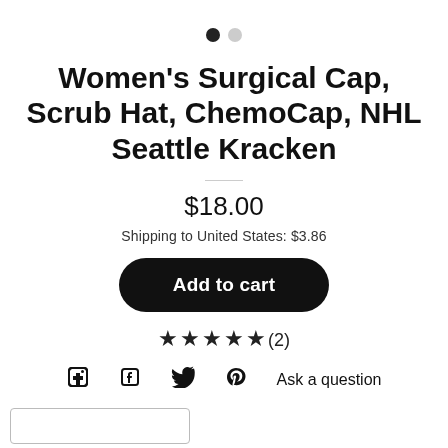[Figure (other): Two pagination dots (one filled black, one gray)]
Women's Surgical Cap, Scrub Hat, ChemoCap, NHL Seattle Kracken
$18.00
Shipping to United States: $3.86
Add to cart
★★★★★(2)
Ask a question